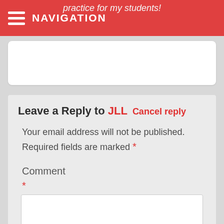practice for my students! NAVIGATION
Leave a Reply to JLL Cancel reply
Your email address will not be published. Required fields are marked *
Comment
*